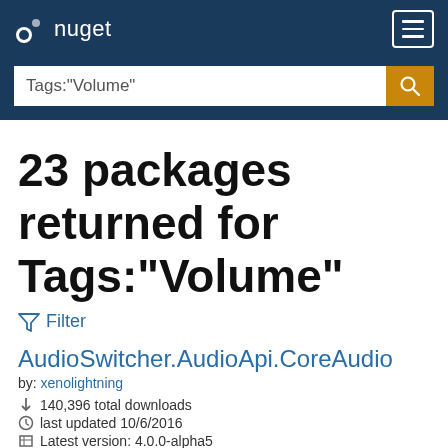nuget
Tags:"Volume"
23 packages returned for Tags:"Volume"
Filter
AudioSwitcher.AudioApi.CoreAudio
by: xenolightning
140,396 total downloads
last updated 10/6/2016
Latest version: 4.0.0-alpha5